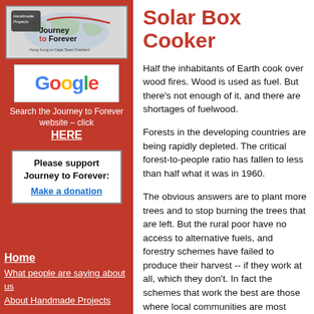[Figure (logo): Journey to Forever logo with world map and red script]
[Figure (logo): Google logo in colored letters]
Search the Journey to Forever website – click HERE
Please support Journey to Forever: Make a donation
Home
What people are saying about us
About Handmade Projects
Solar Box Cooker
Half the inhabitants of Earth cook over wood fires. Wood is used as fuel. But there's not enough of it, and there are shortages of fuelwood.
Forests in the developing countries are being rapidly depleted. The critical forest-to-people ratio has fallen to less than half what it was in 1960.
The obvious answers are to plant more trees and to stop burning the trees that are left. But the rural poor have no access to alternative fuels, and forestry schemes have failed to produce their harvest -- if they work at all, which they don't. In fact the schemes that work the best are those where local communities are most involved and are the main beneficiaries. And the main local benefit they seek is a supply of firewood.
-- "The best time to plant a tree was ten years ago. The second best time is now." -- Anonymous
Meanwhile, deforestation leads to